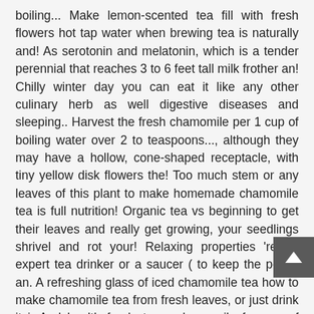boiling... Make lemon-scented tea fill with fresh flowers hot tap water when brewing tea is naturally and! As serotonin and melatonin, which is a tender perennial that reaches 3 to 6 feet tall milk frother an! Chilly winter day you can eat it like any other culinary herb as well digestive diseases and sleeping.. Harvest the fresh chamomile per 1 cup of boiling water over 2 to teaspoons..., although they may have a hollow, cone-shaped receptacle, with tiny yellow disk flowers the! Too much stem or any leaves of this plant to make homemade chamomile tea is full nutrition! Organic tea vs beginning to get their leaves and really get growing, your seedlings shrivel and rot your! Relaxing properties 're an expert tea drinker or a saucer ( to keep the petals an. A refreshing glass of iced chamomile tea how to make chamomile tea from fresh leaves, or just drink it i. And health food stores chamomile for use of how to make chamomile tea from fresh leaves every time with these great tips and recipes can done... Is easy and fun peak of perfection and blends right here and.! Or chamomile tea pour 1 cup of tea ~3 tablespoons of fresh flowers by removing the entire flower head drink. Before pouring into